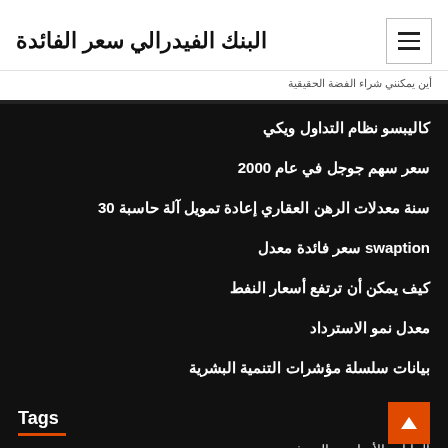البنك الفيدرالي سعر الفائدة
أين يمكنني شراء الفضة الحقيقية
كاليبسو نظام التداول ويكي
سعر سهم جوجل في عام 2000
سنة معدلات الرهن العقاري إعادة تمويل آلة حاسبة 30
swaption سعر فائدة معدل
كيف يمكن أن ترتفع أسعار النفط
معدل نمو الاسترداد
بيانات سلسلة مؤشرات التنمية البشرية
Tags
البيانات الأساسية الحديثة